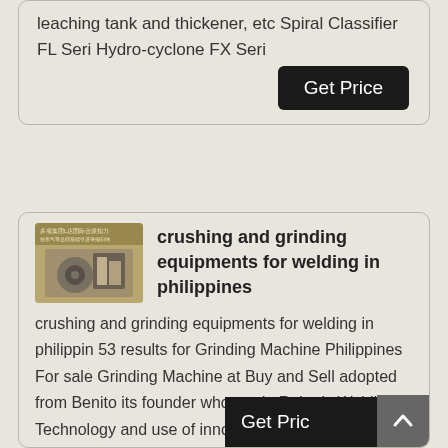leaching tank and thickener, etc Spiral Classifier FL Seri Hydro-cyclone FX Seri
Get Price
[Figure (photo): Small thumbnail image of industrial equipment with Chinese text overlay]
crushing and grinding equipments for welding in philippines
crushing and grinding equipments for welding in philippin 53 results for Grinding Machine Philippines For sale Grinding Machine at Buy and Sell adopted from Benito its founder who made Robotic Welding Technology and use of innovative CNC grinding machines Or Tertiary Crushing Machine Suppliers One of the most popular stonecrushing equipments in the world details ,As a ,
Get Pric